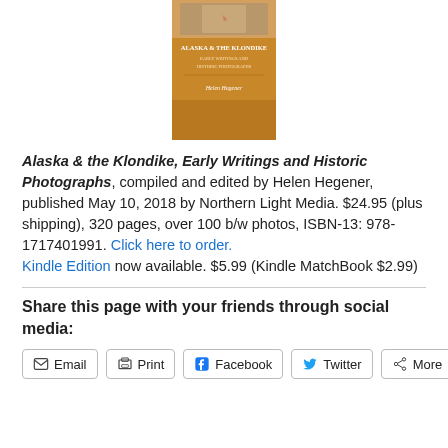[Figure (illustration): Book cover thumbnail for Alaska & the Klondike, Early Writings and Historic Photographs by Helen Hegener, orange/tan cover with title text]
Alaska & the Klondike, Early Writings and Historic Photographs, compiled and edited by Helen Hegener, published May 10, 2018 by Northern Light Media. $24.95 (plus shipping), 320 pages, over 100 b/w photos, ISBN-13: 978-1717401991. Click here to order. Kindle Edition now available. $5.99 (Kindle MatchBook $2.99)
Share this page with your friends through social media:
Email
Print
Facebook
Twitter
More